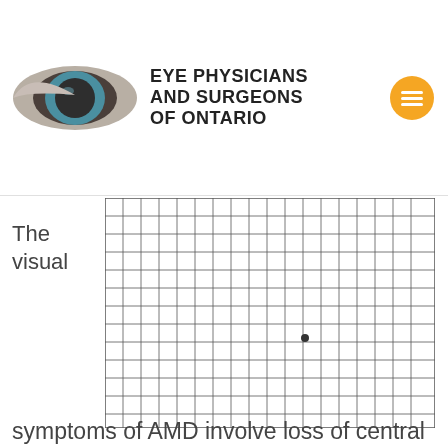[Figure (logo): Eye Physicians and Surgeons of Ontario logo with stylized eye graphic and organization name]
The visual
[Figure (other): Amsler grid — a regular square grid of lines with a small central fixation dot, used for testing AMD visual symptoms]
symptoms of AMD involve loss of central